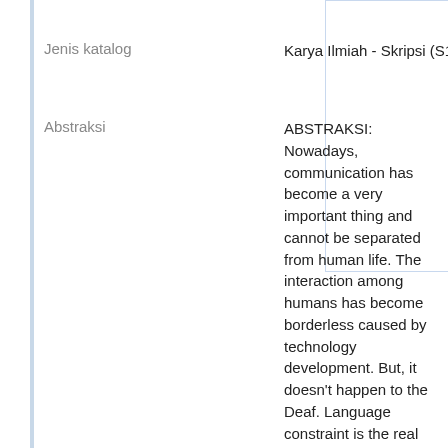Jenis katalog
Karya Ilmiah - Skripsi (S1) - Reference
Abstraksi
ABSTRAKSI: Nowadays, communication has become a very important thing and cannot be separated from human life. The interaction among humans has become borderless caused by technology development. But, it doesn't happen to the Deaf. Language constraint is the real border for them to communicate with society normally and freely. The SIBI dictionary which is used in Indonesia now cannot be accessed by everyone; it's also expensive and thick. Different interpretation might also happen because the explanation and description about Sign Language gestures is not so clear.
This research implemented a Sign Language translator system based on video processing, image processing, and neural network ART-2. The recognizing parameter used in this research was hand shape, because almost all words in SIBI dictionary are